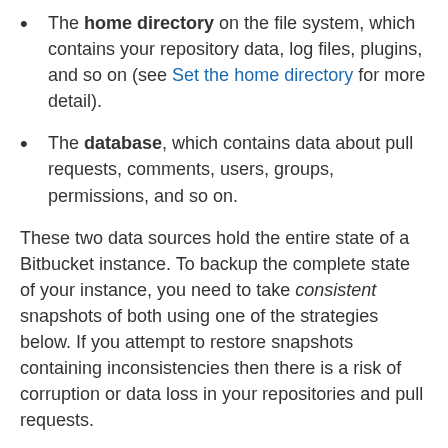The home directory on the file system, which contains your repository data, log files, plugins, and so on (see Set the home directory for more detail).
The database, which contains data about pull requests, comments, users, groups, permissions, and so on.
These two data sources hold the entire state of a Bitbucket instance. To backup the complete state of your instance, you need to take consistent snapshots of both using one of the strategies below. If you attempt to restore snapshots containing inconsistencies then there is a risk of corruption or data loss in your repositories and pull requests.
(In addition, if you have a remote Elasticsearch instance then search indexes are maintained in Elasticsearch's data directory, but you don't have to include this in your backup as it can be completely rebuilt if necessary from the data in your home directory